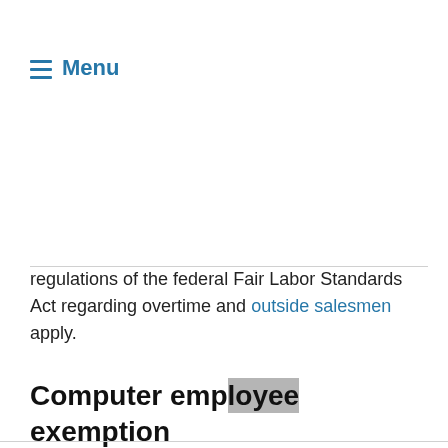≡ Menu
regulations of the federal Fair Labor Standards Act regarding overtime and outside salesmen apply.
Computer employee exemption